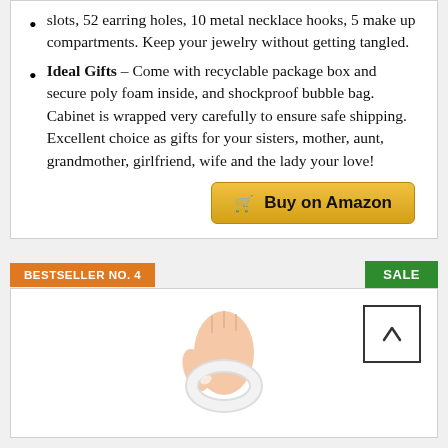slots, 52 earring holes, 10 metal necklace hooks, 5 make up compartments. Keep your jewelry without getting tangled.
Ideal Gifts – Come with recyclable package box and secure poly foam inside, and shockproof bubble bag. Cabinet is wrapped very carefully to ensure safe shipping. Excellent choice as gifts for your sisters, mother, aunt, grandmother, girlfriend, wife and the lady your love!
Buy on Amazon
BESTSELLER NO. 4
SALE
[Figure (photo): Hand holding a transparent/white silicone ring or tube product]